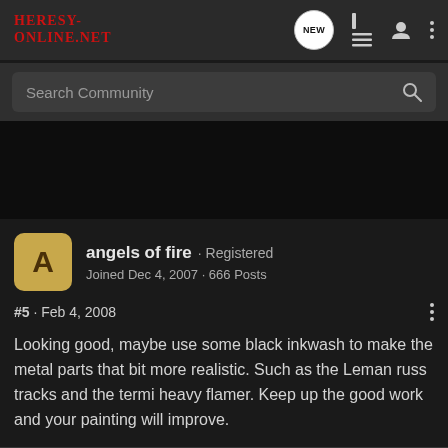HERESY-ONLINE.NET
Search Community
angels of fire · Registered
Joined Dec 4, 2007 · 666 Posts
#5 · Feb 4, 2008
Looking good, maybe use some black inkwash to make the metal parts that bit more realistic. Such as the Leman russ tracks and the termi heavy flamer. Keep up the good work and your painting will improve.